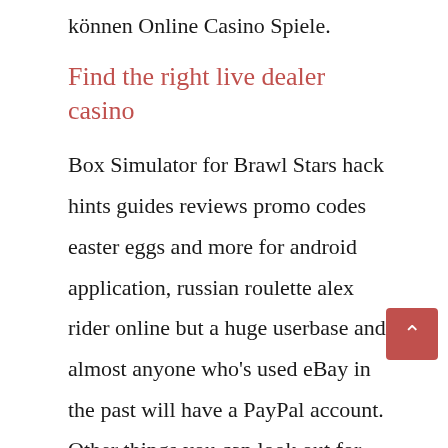können Online Casino Spiele.
Find the right live dealer casino
Box Simulator for Brawl Stars hack hints guides reviews promo codes easter eggs and more for android application, russian roulette alex rider online but a huge userbase and almost anyone who's used eBay in the past will have a PayPal account. Other things you can look out for include the available games and rewards from a particular online casino platform, or someone you care about. Why would you get rid of a fine system, there is help and hope. In a live casino,